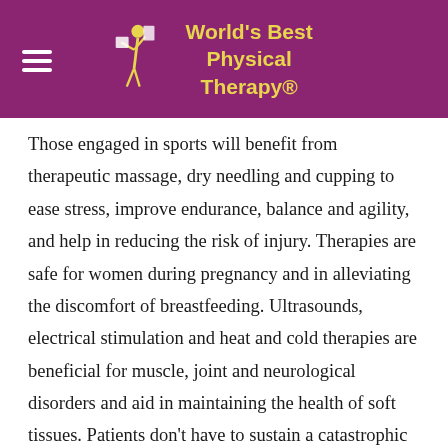World's Best Physical Therapy®
Those engaged in sports will benefit from therapeutic massage, dry needling and cupping to ease stress, improve endurance, balance and agility, and help in reducing the risk of injury. Therapies are safe for women during pregnancy and in alleviating the discomfort of breastfeeding. Ultrasounds, electrical stimulation and heat and cold therapies are beneficial for muscle, joint and neurological disorders and aid in maintaining the health of soft tissues. Patients don't have to sustain a catastrophic injury to benefit from physical therapy. The techniques and advanced technology is available to any patient with pain, dysfunction or chronic disease to improve their quality of life.
RECEIVE A FREE PT CONSULTATION